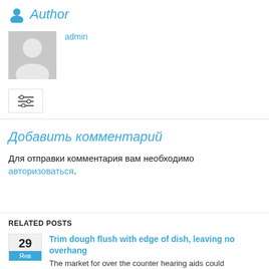Author
admin
Добавить комментарий
Для отправки комментария вам необходимо авторизоваться.
RELATED POSTS
Trim dough flush with edge of dish, leaving no overhang
The market for over the counter hearing aids could